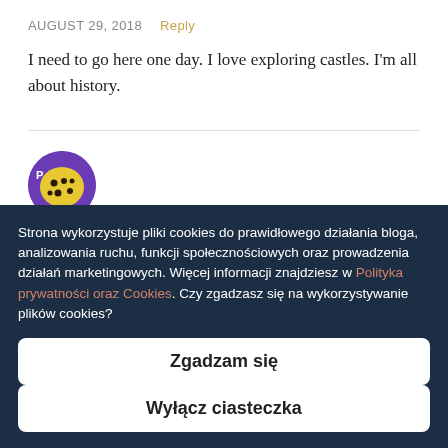AUGUST 29, 2018  Reply
I need to go here one day. I love exploring castles. I'm all about history.
[Figure (logo): Circular blog avatar/logo with yellow and purple cookie-like illustration]
Strona wykorzystuje pliki cookies do prawidłowego działania bloga, analizowania ruchu, funkcji społecznościowych oraz prowadzenia działań marketingowych. Więcej informacji znajdziesz w Polityka prywatności oraz Cookies. Czy zgadzasz się na wykorzystywanie plików cookies?
Zgadzam się
Wyłącz ciasteczka